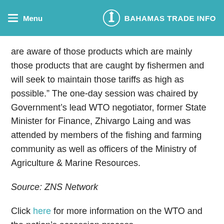Menu | BAHAMAS TRADE INFO
are aware of those products which are mainly those products that are caught by fishermen and will seek to maintain those tariffs as high as possible.” The one-day session was chaired by Government’s lead WTO negotiator, former State Minister for Finance, Zhivargo Laing and was attended by members of the fishing and farming community as well as officers of the Ministry of Agriculture & Marine Resources.
Source: ZNS Network
Click here for more information on the WTO and the nation’s accession process.